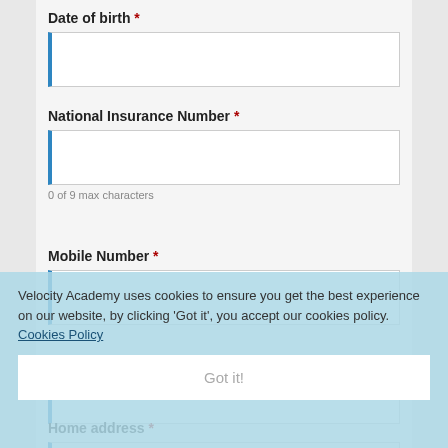Date of birth *
[Figure (other): Text input field for Date of birth with blue left border]
National Insurance Number *
[Figure (other): Text input field for National Insurance Number with blue left border]
0 of 9 max characters
Mobile Number *
[Figure (other): Text input field for Mobile Number with blue left border]
Velocity Academy uses cookies to ensure you get the best experience on our website, by clicking 'Got it', you accept our cookies policy. Cookies Policy
Got it!
Email Address *
[Figure (other): Text input field for Email Address with blue left border]
Home address *
[Figure (other): Text input field for Home address with blue left border]